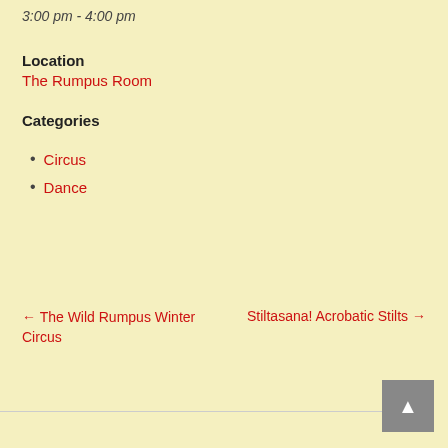3:00 pm - 4:00 pm
Location
The Rumpus Room
Categories
Circus
Dance
← The Wild Rumpus Winter Circus
Stiltasana! Acrobatic Stilts →